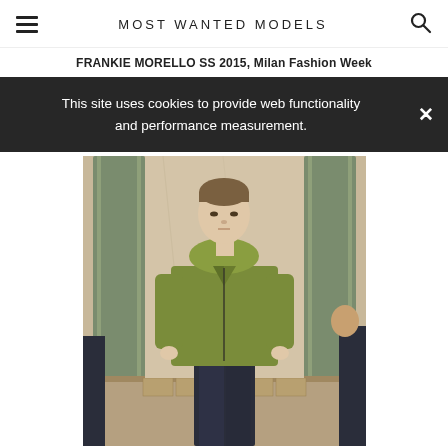MOST WANTED MODELS
FRANKIE MORELLO SS 2015, Milan Fashion Week
This site uses cookies to provide web functionality and performance measurement.
[Figure (photo): Male model on runway wearing olive/khaki green oversized hooded jacket and dark navy trousers, walking in a marble columned hall. Other figures partially visible at edges.]